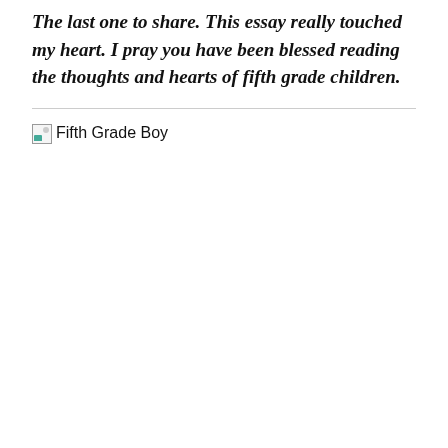The last one to share. This essay really touched my heart. I pray you have been blessed reading the thoughts and hearts of fifth grade children.
[Figure (photo): Broken image placeholder labeled 'Fifth Grade Boy']